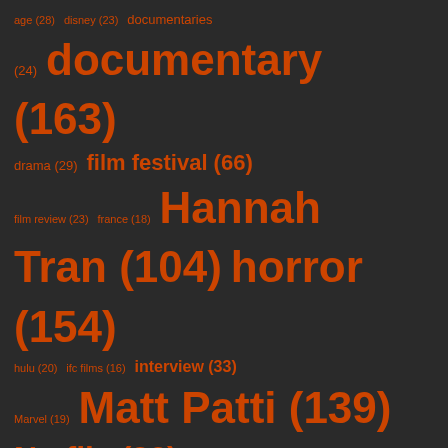[Figure (infographic): Tag cloud showing film/media related tags with sizes proportional to counts. Dark background with orange/red text. Tags include: age (28), disney (23), documentaries (24), documentary (163), drama (29), film festival (66), film review (23), france (18), Hannah Tran (104), horror (154), hulu (20), ifc films (16), interview (33), Marvel (19), Matt Patti (139), Netflix (83), new york (41), new york city (28), new york film festival (19), Patrick Howard (75), racism (19), Robin C. Farrell (35), romance (28), sci-fi (20), science fiction (31), series (25), Shudder (30), sundance (72), sundance film festival (38), SXSW (32), sxsw2021 (17), thriller (58)]